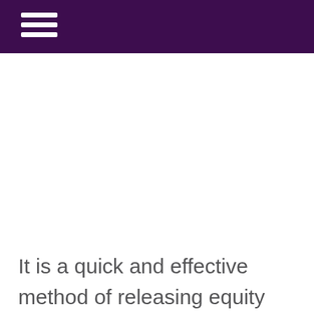It is a quick and effective method of releasing equity tied up in your invoices